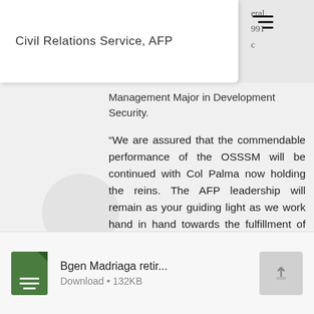Civil Relations Service, AFP
Management Major in Development Security.
“We are assured that the commendable performance of the OSSSM will be continued with Col Palma now holding the reins. The AFP leadership will remain as your guiding light as we work hand in hand towards the fulfillment of our mission,” LtGen Lim said in closing.
(Photos by TSg Randulf D Obinque PAF/PAOAFP)
Bgen Madriaga retir...
Download • 132KB